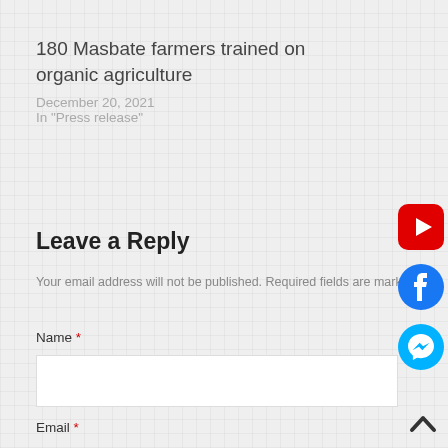180 Masbate farmers trained on organic agriculture
December 20, 2021
In "Press release"
Leave a Reply
Your email address will not be published. Required fields are marked *
Name *
Email *
[Figure (logo): YouTube red play button icon]
[Figure (logo): Facebook blue circle icon]
[Figure (logo): Facebook Messenger teal circle icon]